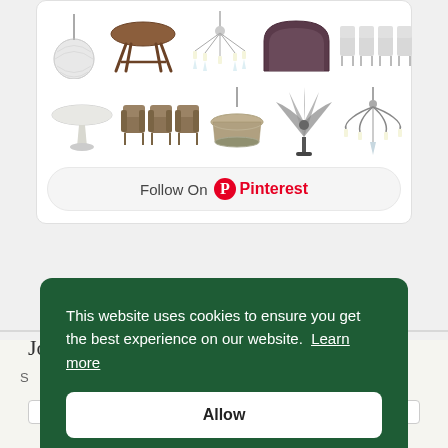[Figure (screenshot): Pinterest widget showing a grid of furniture and lighting items (pendant lamp, dining table, chandelier, headboard, lounge chairs, marble table, wicker chairs, modern chandelier, fan, ornate chandelier) with a 'Follow On Pinterest' button below.]
This website uses cookies to ensure you get the best experience on our website.  Learn more
Allow
Jo
S